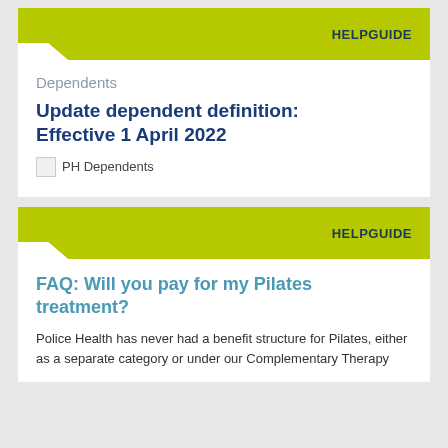HELPGUIDE
Dependents
Update dependent definition: Effective 1 April 2022
[Figure (illustration): PH Dependents icon/logo placeholder]
HELPGUIDE
FAQ: Will you pay for my Pilates treatment?
Police Health has never had a benefit structure for Pilates, either as a separate category or under our Complementary Therapy